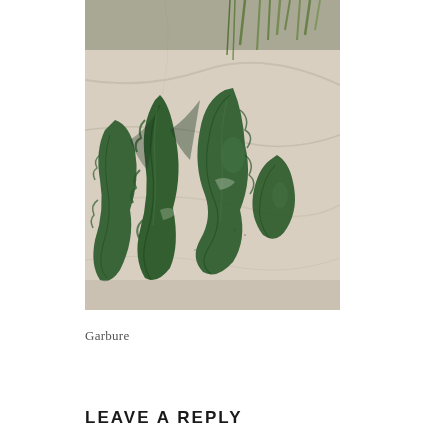[Figure (photo): Close-up photograph of dark green kale leaves laid on a light marble or stone surface. Several curved kale leaf pieces are visible with textured, crinkled edges. Green herbs or stems are visible in the background top portion.]
Garbure
LEAVE A REPLY